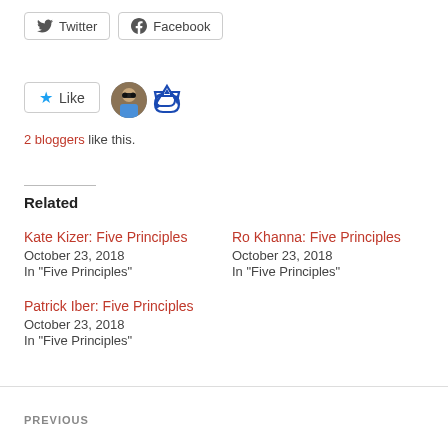[Figure (other): Twitter and Facebook share buttons]
[Figure (other): Like button with two blogger avatars]
2 bloggers like this.
Related
Kate Kizer: Five Principles
October 23, 2018
In "Five Principles"
Ro Khanna: Five Principles
October 23, 2018
In "Five Principles"
Patrick Iber: Five Principles
October 23, 2018
In "Five Principles"
PREVIOUS